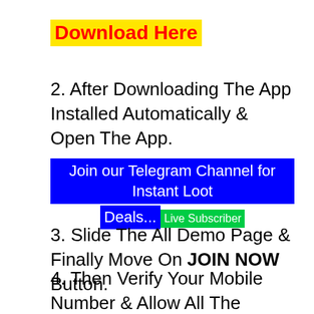Download Here
2. After Downloading The App Installed Automatically & Open The App.
Join our Telegram Channel for Instant Loot Deals... Live Subscriber
3. Slide The All Demo Page & Finally Move On JOIN NOW Button.
4. Then Verify Your Mobile Number & Allow All The Permission.
5. Now Click On Manually Option & Put